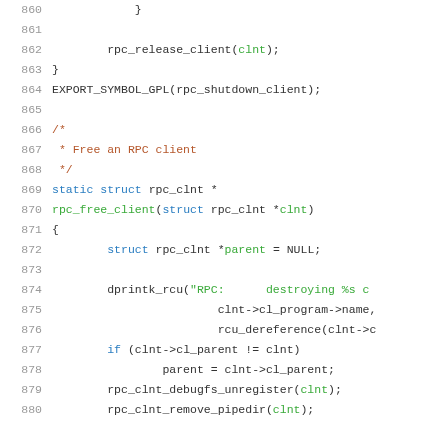[Figure (screenshot): Source code listing showing C code lines 860-880, with syntax highlighting: line numbers in gray, keywords in blue, comments in dark red/brown, strings and function names in green, other code in dark gray/black.]